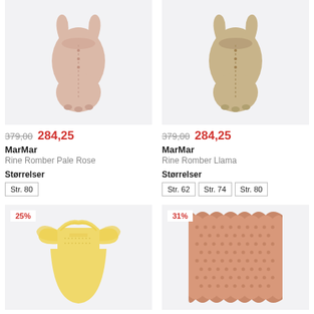[Figure (photo): Baby romper in pale rose/pink color on light grey background]
379,00 284,25
MarMar
Rine Romber Pale Rose
Størrelser
Str. 80
[Figure (photo): Baby romper in llama/beige color on light grey background]
379,00 284,25
MarMar
Rine Romber Llama
Størrelser
Str. 62  Str. 74  Str. 80
[Figure (photo): Yellow ruffle dress on light grey background, 25% discount badge]
[Figure (photo): Pink knit blanket on light grey background, 31% discount badge]